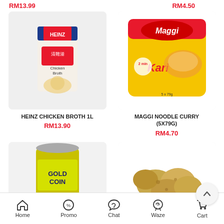RM13.99
RM4.50
[Figure (photo): Heinz Chicken Broth 1L carton product image on grey background]
HEINZ CHICKEN BROTH 1L
RM13.90
[Figure (photo): Maggi Noodle Curry 5x79g multipack bag product image]
MAGGI NOODLE CURRY (5X79G)
RM4.70
[Figure (photo): Gold Coin canned product with yellow-green label]
[Figure (photo): Fresh potatoes pile on white background]
Home  Promo  Chat  Waze  Cart